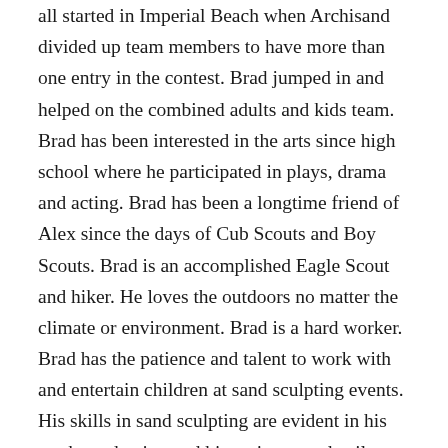all started in Imperial Beach when Archisand divided up team members to have more than one entry in the contest. Brad jumped in and helped on the combined adults and kids team. Brad has been interested in the arts since high school where he participated in plays, drama and acting. Brad has been a longtime friend of Alex since the days of Cub Scouts and Boy Scouts. Brad is an accomplished Eagle Scout and hiker. He loves the outdoors no matter the climate or environment. Brad is a hard worker. Brad has the patience and talent to work with and entertain children at sand sculpting events. His skills in sand sculpting are evident in his work production and his patience to details. Brad studies ceramics at college and enjoys working in the sand with the various tools required to complete sand sculptures. Brad will accomplish much in life because his is willing to put in the hard work and long hours of sand sculpting. Archisand wishes only the best in success to Brad’s future.